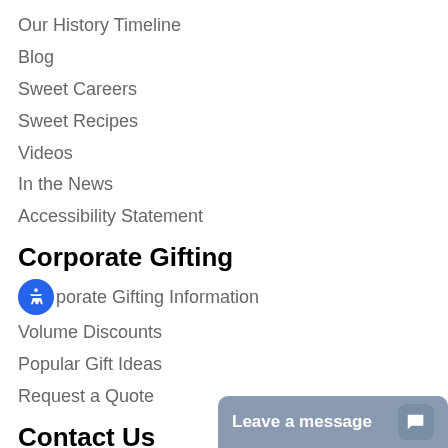Our History Timeline
Blog
Sweet Careers
Sweet Recipes
Videos
In the News
Accessibility Statement
Corporate Gifting
Corporate Gifting Information
Volume Discounts
Popular Gift Ideas
Request a Quote
Contact Us
Email:
info@savannahcandy.com
Mail:
342 E Lathrop Ave